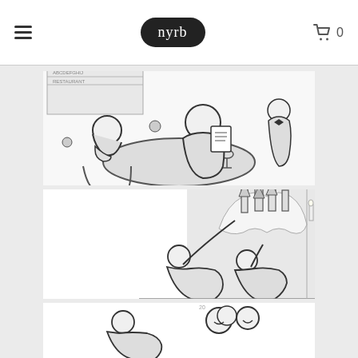nyrb navigation with logo and cart
[Figure (illustration): Black and white pen drawing of a restaurant scene: a woman seated at a table with her chin resting on her hands, looking at a portly man reading a menu, with a waiter in the background and bottles/glasses on the table.]
[Figure (illustration): Black and white pen drawing of two people reclining and looking upward at a fantastical city or castle rising in clouds above them, with one figure pointing upward.]
[Figure (illustration): Partial black and white pen drawing, partially visible at the bottom of the page, showing two or more cartoon-style figures or characters.]